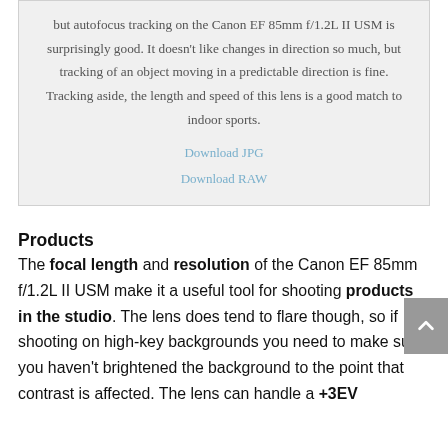but autofocus tracking on the Canon EF 85mm f/1.2L II USM is surprisingly good. It doesn't like changes in direction so much, but tracking of an object moving in a predictable direction is fine. Tracking aside, the length and speed of this lens is a good match to indoor sports.
Download JPG
Download RAW
Products
The focal length and resolution of the Canon EF 85mm f/1.2L II USM make it a useful tool for shooting products in the studio. The lens does tend to flare though, so if shooting on high-key backgrounds you need to make sure you haven't brightened the background to the point that contrast is affected. The lens can handle a +3EV